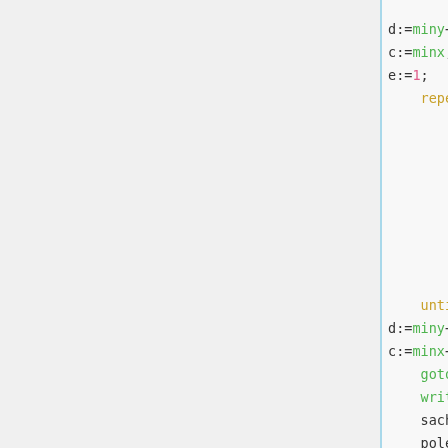d:=miny+4;
c:=minx;
e:=1;
    repeat
        inc(c,2);
        gotoxy(c,d);
        textcolor(biely);
        write('P');
        sachovnica[c,d]:='P';
        pole[c,d]:='b';
        inc(e);
        prvytah[e,1]:=false;
    until c>=minx+16;
d:=miny+2;
c:=minx+2;
    gotoxy(c,d);
    write('V');
    sachovnica[c,d]:='V';
    pole[c,d]:='b';
gotoxy(c+2,d);
write('K');
sachovnica[c+2,d]:='K';
pole[c+2,d]:='b';
    gotoxy(c+4,d);
    write('S');
    sachovnica[c+4,d]:='S';
    pole[c+4,d]:='b';
gotoxy(c+6,d);
write('Q');
sachovnica[c+6,d]:='Q';